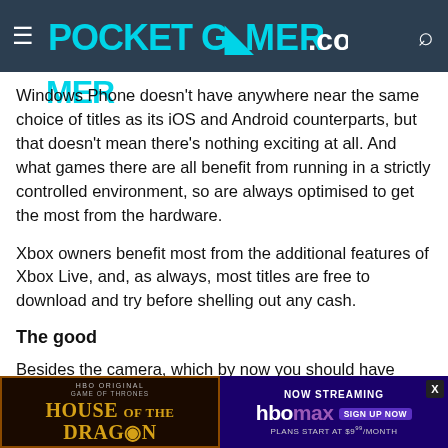POCKET GAMER.com
Windows Phone doesn't have anywhere near the same choice of titles as its iOS and Android counterparts, but that doesn't mean there's nothing exciting at all. And what games there are all benefit from running in a strictly controlled environment, so are always optimised to get the most from the hardware.
Xbox owners benefit most from the additional features of Xbox Live, and, as always, most titles are free to download and try before shelling out any cash.
The good
Besides the camera, which by now you should have realised is really rather good, the AMOLED display is also worthy of mention. It not only helps save battery consumption in normal use, assuming you use the dark theme, but it also cranks itself up on bright... with no difficulty...
[Figure (screenshot): Advertisement banner for HBO Original Game of Thrones: House of the Dragon and HBO Max streaming service with 'Now Streaming', HBO Max logo, Sign Up Now button, and Plans Start at $9.99/Month text.]